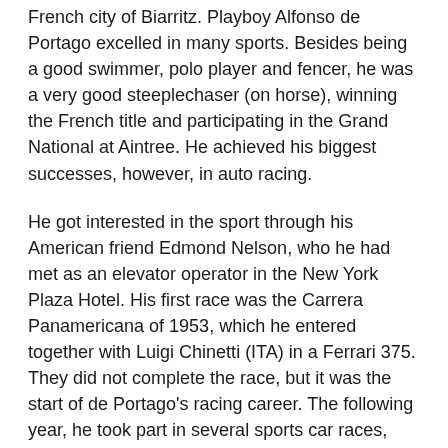French city of Biarritz. Playboy Alfonso de Portago excelled in many sports. Besides being a good swimmer, polo player and fencer, he was a very good steeplechaser (on horse), winning the French title and participating in the Grand National at Aintree. He achieved his biggest successes, however, in auto racing.
He got interested in the sport through his American friend Edmond Nelson, who he had met as an elevator operator in the New York Plaza Hotel. His first race was the Carrera Panamericana of 1953, which he entered together with Luigi Chinetti (ITA) in a Ferrari 375. They did not complete the race, but it was the start of de Portago's racing career. The following year, he took part in several sports car races, including the 12 hours of Sebring, and the 24 hours of Le Mans. His success in sports car races, driving Ferraris, earned him the attention of the Ferrari team, and he was signed for the team for the 1956 Formula 1 season.